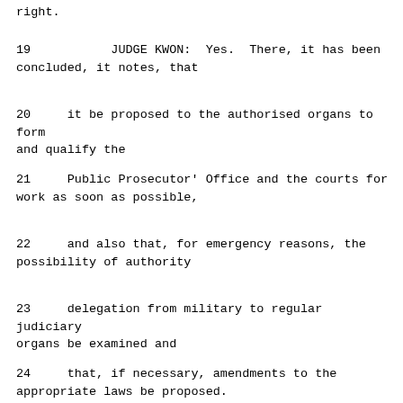right.
19          JUDGE KWON:  Yes.  There, it has been concluded, it notes, that
20     it be proposed to the authorised organs to form and qualify the
21     Public Prosecutor' Office and the courts for work as soon as possible,
22     and also that, for emergency reasons, the possibility of authority
23     delegation from military to regular judiciary organs be examined and
24     that, if necessary, amendments to the appropriate laws be proposed.